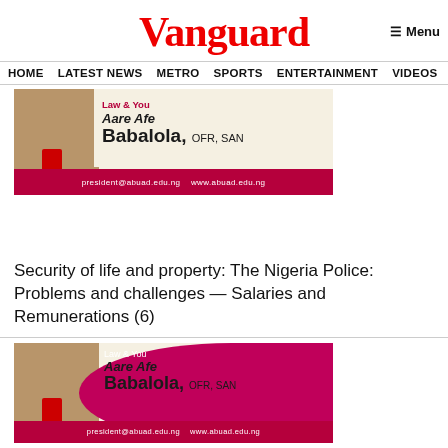Vanguard
≡ Menu
HOME  LATEST NEWS  METRO  SPORTS  ENTERTAINMENT  VIDEOS
[Figure (illustration): Advertisement banner showing Aare Afe Babalola, OFR, SAN with Law & You column branding. Shows his portrait, name in large text, and contact: president@abuad.edu.ng  www.abuad.edu.ng]
Security of life and property: The Nigeria Police: Problems and challenges — Salaries and Remunerations (6)
[Figure (illustration): Advertisement banner showing Law & You column by Aare Afe Babalola, OFR, SAN with contact: president@abuad.edu.ng  www.abuad.edu.ng]